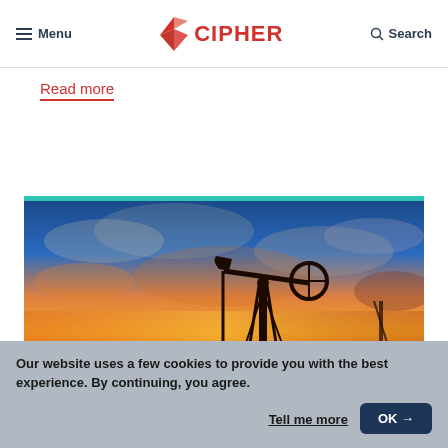Menu | CIPHER | Search
Read more
[Figure (photo): Oil pump jack silhouetted against a vibrant sunset sky with orange, yellow, and blue gradient clouds]
Our website uses a few cookies to provide you with the best experience. By continuing, you agree.
Tell me more  OK →